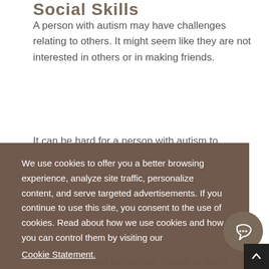Social Skills
A person with autism may have challenges relating to others. It might seem like they are not interested in others or in making friends.
We use cookies to offer you a better browsing experience, analyze site traffic, personalize content, and serve targeted advertisements. If you continue to use this site, you consent to the use of cookies. Read about how we use cookies and how you can control them by visiting our Cookie Statement.
OK
repeat certain behaviors, including hand